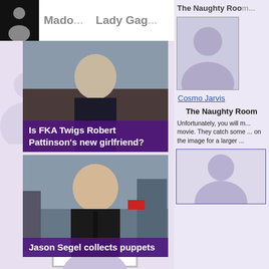Mado... Lady Gag...
Is FKA Twigs Robert Pattinson's new girlfriend?
[Figure (photo): Photo of man in suit (Robert Pattinson area)]
Jason Segel collects puppets
[Figure (photo): Photo of Jason Segel in suit on city street]
The Naughty Room
[Figure (photo): Placeholder profile silhouette image (Cosmo Jarvis)]
Cosmo Jarvis
The Naughty Room
Unfortunately, you will m... movie. They catch some ... on the image for a larger ...
[Figure (photo): Placeholder silhouette profile image in blue-bordered box]